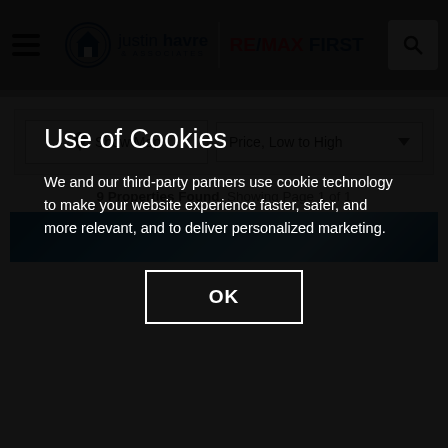Justin Havre & Associates | RE/MAX FIRST
Show Map | Price, Low to High
9 Properties Found. Showing Page 1 of 1
[Figure (screenshot): Partial property listing image strip, blue tones]
Use of Cookies
We and our third-party partners use cookie technology to make your website experience faster, safer, and more relevant, and to deliver personalized marketing.
OK